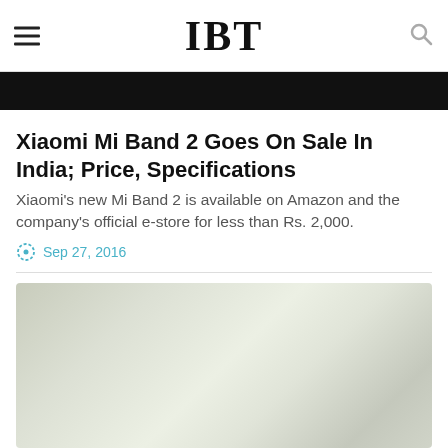IBT
[Figure (photo): Top banner image, mostly dark/black background]
Xiaomi Mi Band 2 Goes On Sale In India; Price, Specifications
Xiaomi's new Mi Band 2 is available on Amazon and the company's official e-store for less than Rs. 2,000.
Sep 27, 2016
[Figure (photo): Blurred/muted green-grey product image of Mi Band 2]